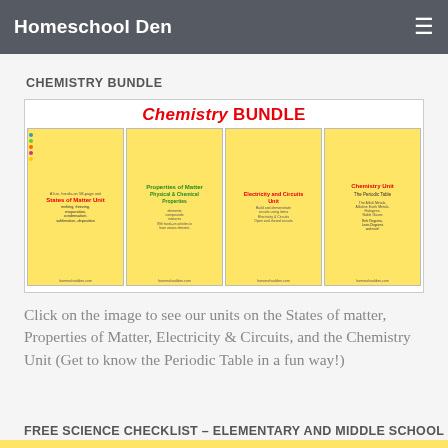Homeschool Den
CHEMISTRY BUNDLE
[Figure (illustration): Chemistry Bundle promotional image showing four educational unit covers: States of Matter Unit, Properties of Matter Physical & Chemical Properties, Electricity and Circuits Unit, and Chemistry Unit The Periodic Table, all with homeschoolden.com branding]
Click on the image to see our units on the States of matter, Properties of Matter, Electricity & Circuits, and the Chemistry Unit (Get to know the Periodic Table in a fun way!)
FREE SCIENCE CHECKLIST – ELEMENTARY AND MIDDLE SCHOOL